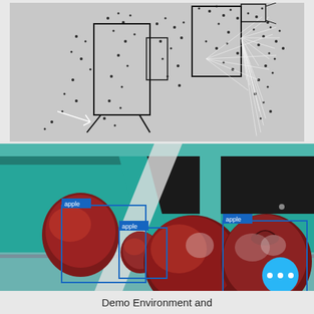[Figure (other): 3D point cloud / SLAM map reconstruction showing sparse feature points and camera frustum lines on a gray background, with black structural outlines of walls/panels and white lines indicating matched features or trajectories.]
[Figure (photo): Camera image of three red apples on a teal/turquoise conveyor or shelf structure with dark background. Three blue bounding boxes are drawn around each apple, each labeled with the word 'apple' in a blue label chip. A blue circular FAB button with three dots is visible in the lower right corner.]
Demo Environment and